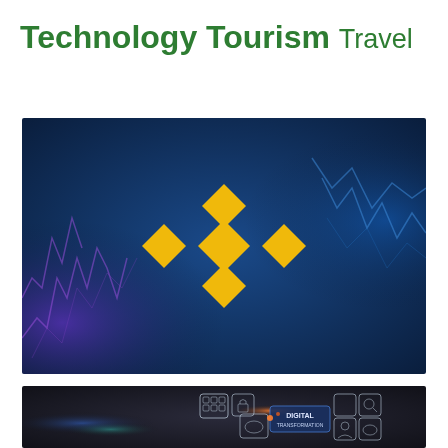Technology Tourism Travel
[Figure (illustration): Binance logo (yellow diamond-shaped logo) centered on a dark blue background with glowing candlestick chart lines]
[Figure (illustration): Digital transformation concept image showing tech icons on a dark background with text DIGITAL TRANSFORMATION]